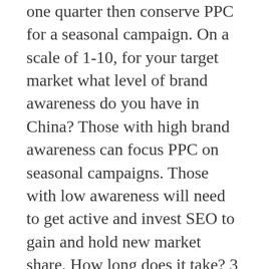You might want to drive up traffic for one quarter then conserve PPC for a seasonal campaign. On a scale of 1-10, for your target market what level of brand awareness do you have in China? Those with high brand awareness can focus PPC on seasonal campaigns. Those with low awareness will need to get active and invest SEO to gain and hold new market share. How long does it take? 3 months to see any trackable, reliable gains in traffic results. 6 months to gain solid momentum and “brand traction.” 12 months to gain and retain brand awareness and